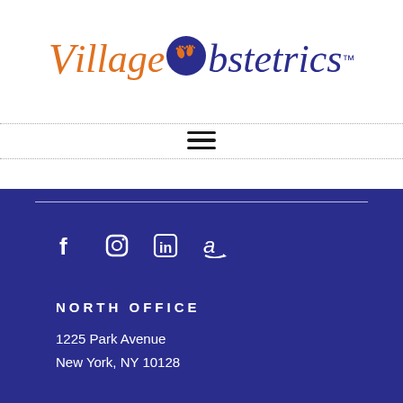[Figure (logo): Village Obstetrics logo — 'Village' in orange italic, baby footprint icon in a blue circle, 'bstetrics' in blue italic, with TM superscript]
[Figure (other): Hamburger menu icon (three horizontal lines)]
[Figure (other): Social media icons: Facebook, Instagram, LinkedIn, Amazon, on dark blue background]
NORTH OFFICE
1225 Park Avenue
New York, NY 10128